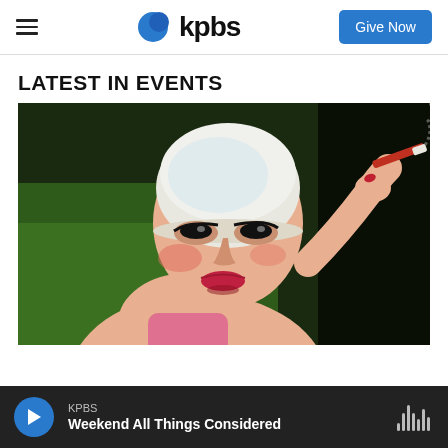kpbs | Give Now
LATEST IN EVENTS
[Figure (photo): Painting of a woman wearing a white swim cap, with dramatic makeup and red lipstick, holding a cigarette, posed against a green and dark background.]
KPBS — Weekend All Things Considered